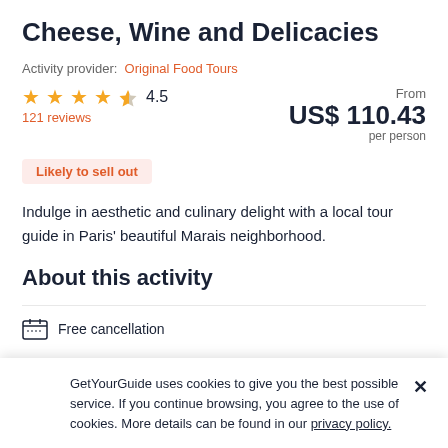Cheese, Wine and Delicacies
Activity provider: Original Food Tours
★★★★½ 4.5
121 reviews
From US$ 110.43 per person
Likely to sell out
Indulge in aesthetic and culinary delight with a local tour guide in Paris' beautiful Marais neighborhood.
About this activity
Free cancellation
GetYourGuide uses cookies to give you the best possible service. If you continue browsing, you agree to the use of cookies. More details can be found in our privacy policy.